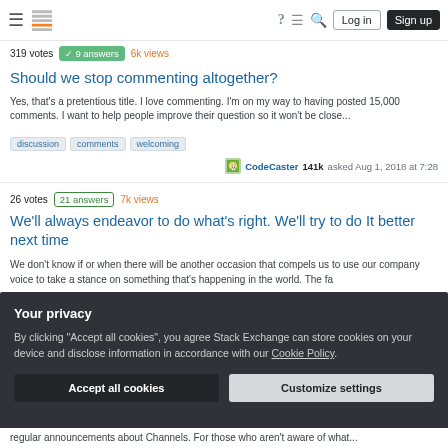Stack Exchange navigation bar with hamburger menu, logo, help, chat, search icons, Log in and Sign up buttons
319 votes | 9 answers | 6k views
Should we stop commenting altogether?
Yes, that's a pretentious title. I love commenting. I'm on my way to having posted 15,000 comments. I want to help people improve their question so it won't be close...
discussion
comments
welcoming
CodeCaster 141k asked Aug 1, 2018 at 7:28
26 votes | 21 answers | 7k views
We'll always endeavor to do what's right. We'll try to do It better next time
We don't know if or when there will be another occasion that compels us to use our company voice to take a stance on something that's happening in the world. The fa
Your privacy
By clicking "Accept all cookies", you agree Stack Exchange can store cookies on your device and disclose information in accordance with our Cookie Policy.
Accept all cookies
Customize settings
regular announcements about Channels. For those who aren't aware of what...